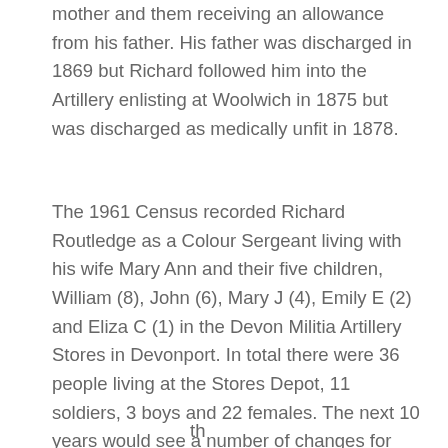mother and them receiving an allowance from his father. His father was discharged in 1869 but Richard followed him into the Artillery enlisting at Woolwich in 1875 but was discharged as medically unfit in 1878.
The 1961 Census recorded Richard Routledge as a Colour Sergeant living with his wife Mary Ann and their five children, William (8), John (6), Mary J (4), Emily E (2) and Eliza C (1) in the Devon Militia Artillery Stores in Devonport. In total there were 36 people living at the Stores Depot, 11 soldiers, 3 boys and 22 females. The next 10 years would see a number of changes for both the Routledge family, Island and the Three Towns.
th